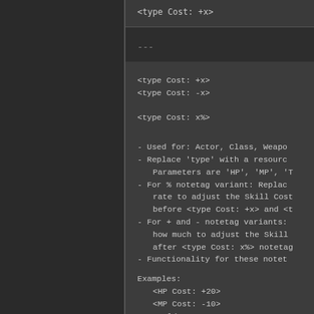<type Cost: +x>
---
<type Cost: +x>
<type Cost: -x>

<type Cost: x%>

- Used for: Actor, Class, Weapo
- Replace 'type' with a resourc
  Parameters are 'HP', 'MP', 'T
- For % notetag variant: Replac
  rate to adjust the Skill Cost
  before <type Cost: +x> and <t
- For + and - notetag variants:
  how much to adjust the Skill
  after <type Cost: x%> notetag
- Functionality for these notet

Examples:
  <HP Cost: +20>
  <MP Cost: -10>
  <Gold Cost: 50%>